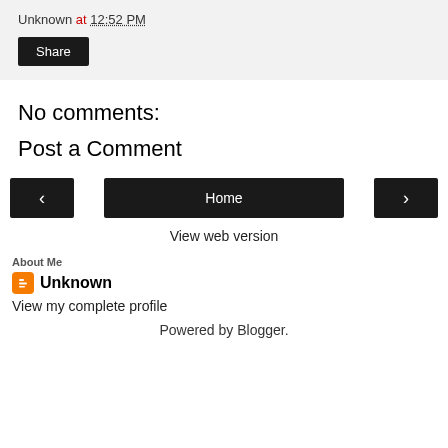Unknown at 12:52 PM
Share
No comments:
Post a Comment
‹   Home   ›
View web version
About Me
Unknown
View my complete profile
Powered by Blogger.